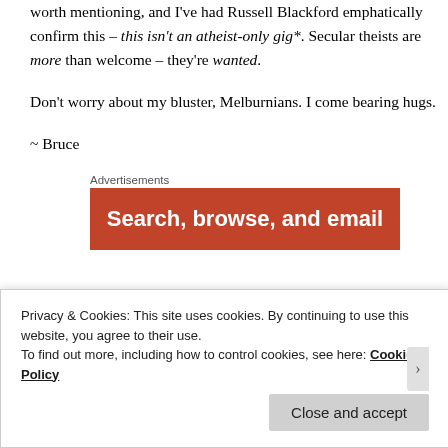worth mentioning, and I've had Russell Blackford emphatically confirm this – this isn't an atheist-only gig*. Secular theists are more than welcome – they're wanted.
Don't worry about my bluster, Melburnians. I come bearing hugs.
~ Bruce
[Figure (other): Advertisement banner with orange/red background and white bold text reading 'Search, browse, and email']
Privacy & Cookies: This site uses cookies. By continuing to use this website, you agree to their use. To find out more, including how to control cookies, see here: Cookie Policy